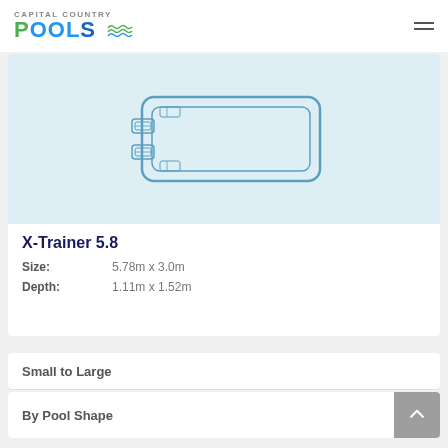Capital Country Pools
[Figure (schematic): Top-down blueprint/schematic diagram of the X-Trainer 5.8 pool, showing a rectangular pool shape with steps/entry feature on the left side, outlined in blue on a light blue background.]
X-Trainer 5.8
Size: 5.78m x 3.0m
Depth: 1.11m x 1.52m
Small to Large
By Pool Shape